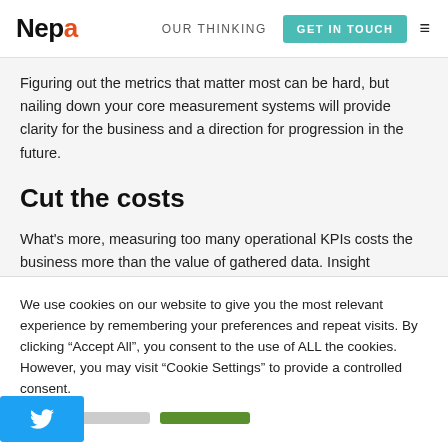Nepa | OUR THINKING | GET IN TOUCH
Figuring out the metrics that matter most can be hard, but nailing down your core measurement systems will provide clarity for the business and a direction for progression in the future.
Cut the costs
What's more, measuring too many operational KPIs costs the business more than the value of gathered data. Insight
We use cookies on our website to give you the most relevant experience by remembering your preferences and repeat visits. By clicking “Accept All”, you consent to the use of ALL the cookies. However, you may visit “Cookie Settings” to provide a controlled consent.